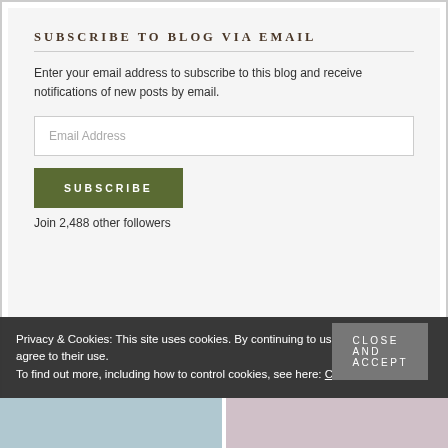SUBSCRIBE TO BLOG VIA EMAIL
Enter your email address to subscribe to this blog and receive notifications of new posts by email.
Email Address
SUBSCRIBE
Join 2,488 other followers
Privacy & Cookies: This site uses cookies. By continuing to use this website, you agree to their use.
To find out more, including how to control cookies, see here: Cookie Policy
Close and accept